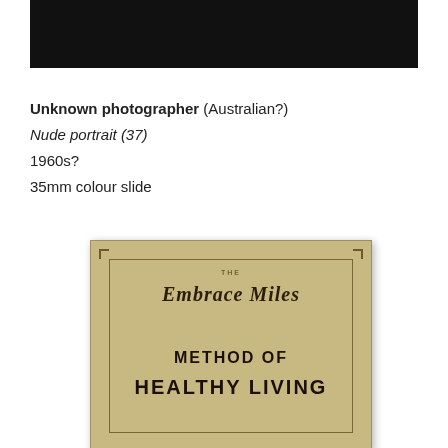[Figure (photo): Black rectangular bar at top, likely a redacted or cropped area of a photograph]
Unknown photographer (Australian?)
Nude portrait (37)
1960s?
35mm colour slide
[Figure (photo): Photograph of a worn book cover reading 'THE Embrace Miles METHOD OF HEALTHY LIVING' on a tan/khaki textured background]